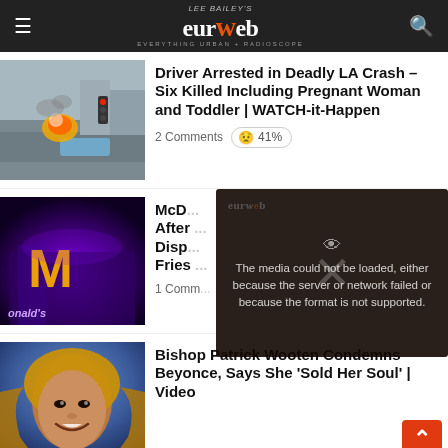LEE BAILEY'S eurweb EVERYTHING URBAN + RADIOSCOPE
[Figure (screenshot): Thumbnail image of a crash scene with fire and smoke at a street intersection with cars]
Driver Arrested in Deadly LA Crash – Six Killed Including Pregnant Woman and Toddler | WATCH-it-Happen
2 Comments  😟 41%
[Figure (screenshot): McDonald's restaurant exterior at night lit in purple/violet light with golden arches]
McD... After ... Disp... Fries ...
1 Comm...
[Figure (screenshot): Video player error overlay: The media could not be loaded, either because the server or network failed or because the format is not supported.]
[Figure (photo): Close-up photo of Beyonce smiling, with blonde wavy hair, against a blue background]
Bishop Patrick Wooten Condemns Beyonce, Says She 'Sold Her Soul' | Video